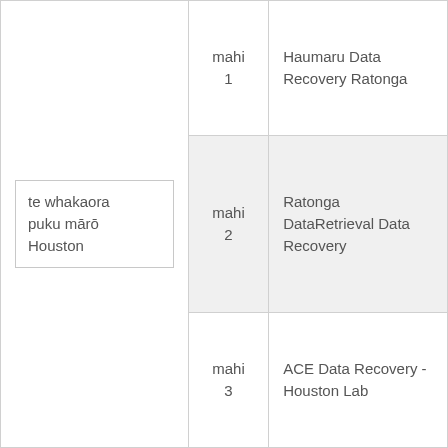| te whakaora puku mārō Houston | mahi 1 | Haumaru Data Recovery Ratonga |
|  | mahi 2 | Ratonga DataRetrieval Data Recovery |
|  | mahi 3 | ACE Data Recovery - Houston Lab |